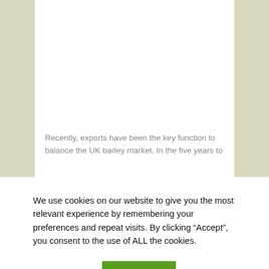Recently, exports have been the key function to balance the UK barley market. In the five years to
We use cookies on our website to give you the most relevant experience by remembering your preferences and repeat visits. By clicking “Accept”, you consent to the use of ALL the cookies.
Cookie settings
ACCEPT